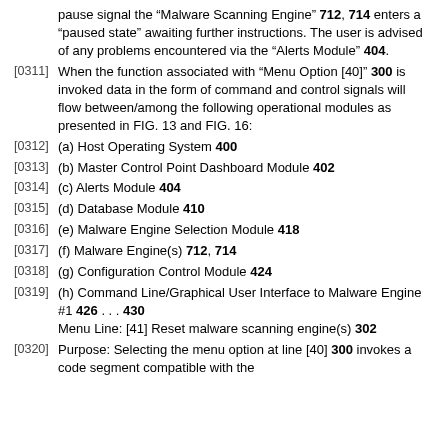pause signal the “Malware Scanning Engine” 712, 714 enters a “paused state” awaiting further instructions. The user is advised of any problems encountered via the “Alerts Module” 404.
[0311] When the function associated with “Menu Option [40]” 300 is invoked data in the form of command and control signals will flow between/among the following operational modules as presented in FIG. 13 and FIG. 16:
[0312] (a) Host Operating System 400
[0313] (b) Master Control Point Dashboard Module 402
[0314] (c) Alerts Module 404
[0315] (d) Database Module 410
[0316] (e) Malware Engine Selection Module 418
[0317] (f) Malware Engine(s) 712, 714
[0318] (g) Configuration Control Module 424
[0319] (h) Command Line/Graphical User Interface to Malware Engine #1 426 . . . 430
Menu Line: [41] Reset malware scanning engine(s) 302
[0320] Purpose: Selecting the menu option at line [40] 300 invokes a code segment compatible with the